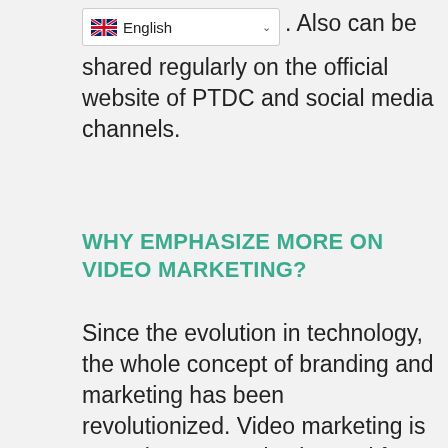[Figure (screenshot): Language selector dropdown showing UK flag and 'English' with a dropdown arrow]
. Also can be shared regularly on the official website of PTDC and social media channels.
WHY EMPHASIZE MORE ON VIDEO MARKETING?
Since the evolution in technology, the whole concept of branding and marketing has been revolutionized. Video marketing is a much more productive and faster way to get your brand recognition in no time than traditional SEO. An engaging video can attract tourists more accessible, and